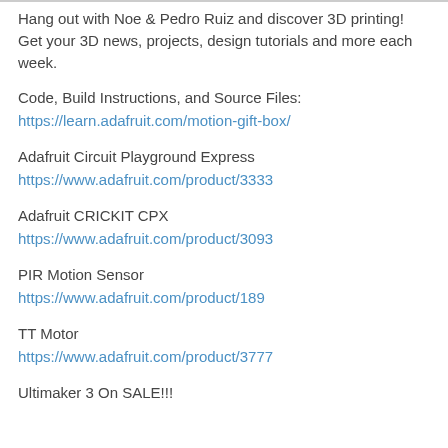Hang out with Noe & Pedro Ruiz and discover 3D printing! Get your 3D news, projects, design tutorials and more each week.
Code, Build Instructions, and Source Files:
https://learn.adafruit.com/motion-gift-box/
Adafruit Circuit Playground Express
https://www.adafruit.com/product/3333
Adafruit CRICKIT CPX
https://www.adafruit.com/product/3093
PIR Motion Sensor
https://www.adafruit.com/product/189
TT Motor
https://www.adafruit.com/product/3777
Ultimaker 3 On SALE!!!